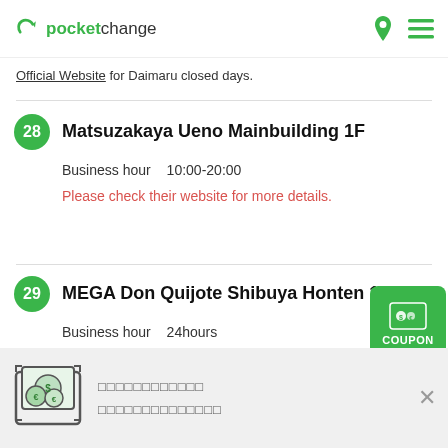pocket change
Official Website for Daimaru closed days.
28 Matsuzakaya Ueno Mainbuilding 1F
Business hour   10:00-20:00
Please check their website for more details.
29 MEGA Don Quijote Shibuya Honten 1F
Business hour   24hours
Please check their website for more details.
[Figure (screenshot): Currency exchange app banner with money icon and Japanese text, with close X button]